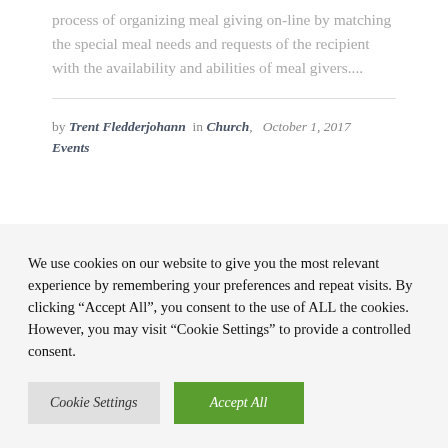process of organizing meal giving on-line by matching the special meal needs and requests of the recipient with the availability and abilities of meal givers....
by Trent Fledderjohann in Church, October 1, 2017 Events
We use cookies on our website to give you the most relevant experience by remembering your preferences and repeat visits. By clicking “Accept All”, you consent to the use of ALL the cookies. However, you may visit "Cookie Settings" to provide a controlled consent.